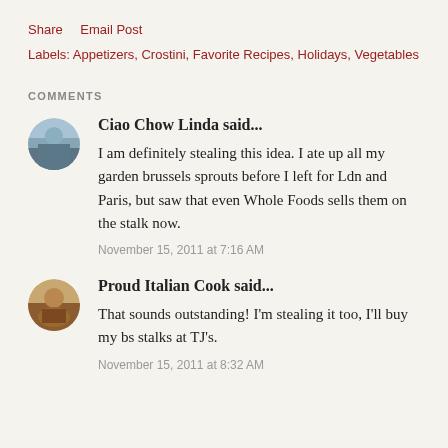Share   Email Post
Labels: Appetizers, Crostini, Favorite Recipes, Holidays, Vegetables
COMMENTS
Ciao Chow Linda said...

I am definitely stealing this idea. I ate up all my garden brussels sprouts before I left for Ldn and Paris, but saw that even Whole Foods sells them on the stalk now.

November 15, 2011 at 7:16 AM
Proud Italian Cook said...

That sounds outstanding! I'm stealing it too, I'll buy my bs stalks at TJ's.

November 15, 2011 at 8:32 AM